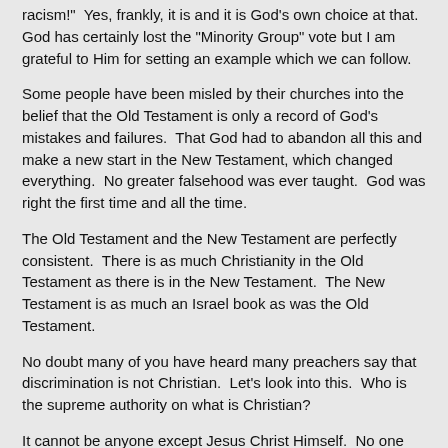racism!"  Yes, frankly, it is and it is God's own choice at that.  God has certainly lost the "Minority Group" vote but I am grateful to Him for setting an example which we can follow.
Some people have been misled by their churches into the belief that the Old Testament is only a record of God's mistakes and failures.  That God had to abandon all this and make a new start in the New Testament, which changed everything.  No greater falsehood was ever taught.  God was right the first time and all the time.
The Old Testament and the New Testament are perfectly consistent.  There is as much Christianity in the Old Testament as there is in the New Testament.  The New Testament is as much an Israel book as was the Old Testament.
No doubt many of you have heard many preachers say that discrimination is not Christian.  Let's look into this.  Who is the supreme authority on what is Christian?
It cannot be anyone except Jesus Christ Himself.  No one can tell me that Jesus Christ was unChristian.
Fortunately, Jesus Christ never used any of the weasel worded evasions